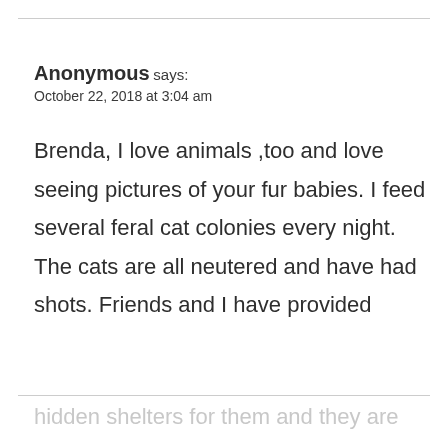Anonymous says:
October 22, 2018 at 3:04 am
Brenda, I love animals ,too and love seeing pictures of your fur babies. I feed several feral cat colonies every night. The cats are all neutered and have had shots. Friends and I have provided
hidden shelters for them and they are